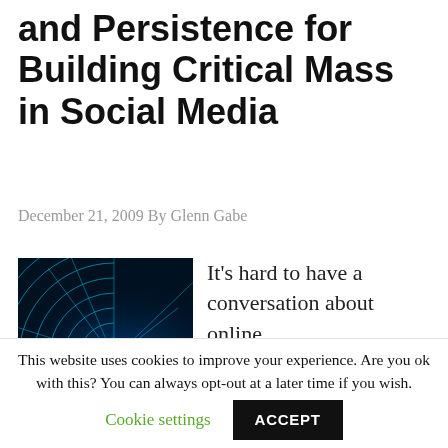and Persistence for Building Critical Mass in Social Media
December 21, 2009 By Glenn Gabe
[Figure (photo): Abstract blue glowing radial grid pattern on dark background]
It’s hard to have a conversation about online
This website uses cookies to improve your experience. Are you ok with this? You can always opt-out at a later time if you wish. Cookie settings ACCEPT